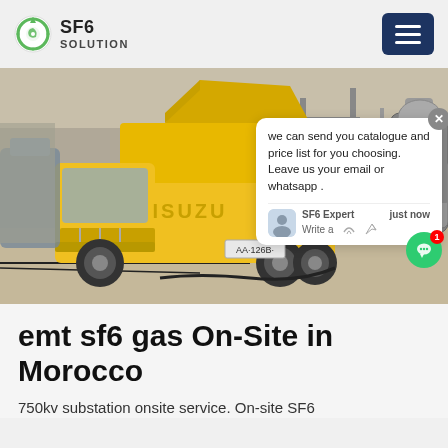SF6 SOLUTION
[Figure (photo): Yellow ISUZU truck at an electrical substation with large industrial equipment and piping in the background. A chat popup overlay is visible on the right side of the image.]
emt sf6 gas On-Site in Morocco
750kv substation onsite service. On-site SF6